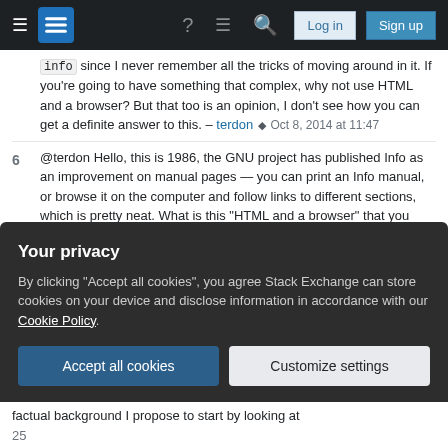Stack Exchange navigation bar with hamburger menu, logo, help, inbox, search, Log in, Sign up buttons
`info` since I never remember all the tricks of moving around in it. If you're going to have something that complex, why not use HTML and a browser? But that too is an opinion, I don't see how you can get a definite answer to this. – terdon ◆ Oct 8, 2014 at 11:47
6  @terdon Hello, this is 1986, the GNU project has published Info as an improvement on manual pages — you can print an Info manual, or browse it on the computer and follow links to different sections, which is pretty neat. What is this "HTML and a browser" that you speak of? – Gilles 'SO- stop being evil' Oct 8, 2014 at 20:57
Show 2 more comments
Your privacy
By clicking "Accept all cookies", you agree Stack Exchange can store cookies on your device and disclose information in accordance with our Cookie Policy.
Accept all cookies   Customize settings
factual background I propose to start by looking at 25